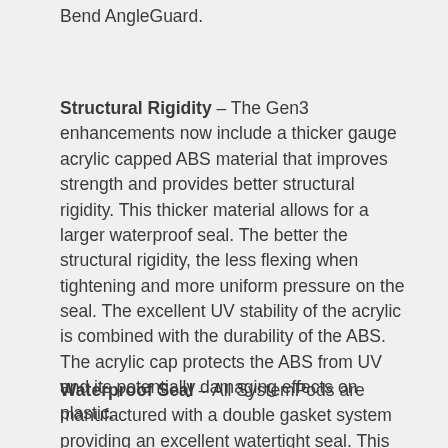Bend AngleGuard.
Structural Rigidity – The Gen3 enhancements now include a thicker gauge acrylic capped ABS material that improves strength and provides better structural rigidity. This thicker material allows for a larger waterproof seal. The better the structural rigidity, the less flexing when tightening and more uniform pressure on the seal. The excellent UV stability of the acrylic is combined with the durability of the ABS. The acrylic cap protects the ABS from UV and its potentially damaging effects on plastic.
Waterproof Seal – All SystemPods are manufactured with a double gasket system providing an excellent watertight seal. This